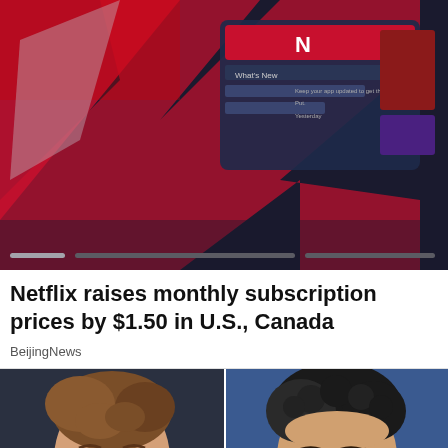[Figure (screenshot): Netflix app interface screenshot showing the Netflix logo and UI elements including 'What's New' section on a dark background with red and blue tones]
Netflix raises monthly subscription prices by $1.50 in U.S., Canada
BeijingNews
[Figure (photo): Side-by-side photos: left shows a young man with light brown hair smiling against a dark background; right shows an Asian man with glasses and curly dark hair smiling against a blue background]